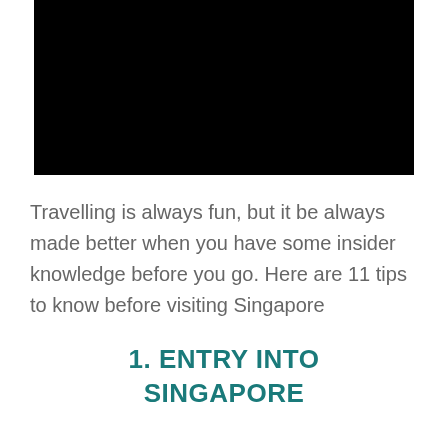[Figure (photo): Black rectangle representing a placeholder or blacked-out image at the top of the page]
Travelling is always fun, but it be always made better when you have some insider knowledge before you go. Here are 11 tips to know before visiting Singapore
1. ENTRY INTO SINGAPORE